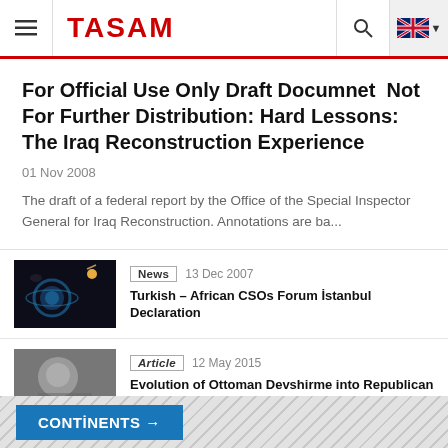TASAM
For Official Use Only Draft Documnet  Not For Further Distribution: Hard Lessons: The Iraq Reconstruction Experience
01 Nov 2008
The draft of a federal report by the Office of the Special Inspector General for Iraq Reconstruction. Annotations are ba...
News  13 Dec 2007
Turkish – African CSOs Forum İstanbul Declaration
Article  12 May 2015
Evolution of Ottoman Devshirme into Republican White Turk
CONTİNENTS →